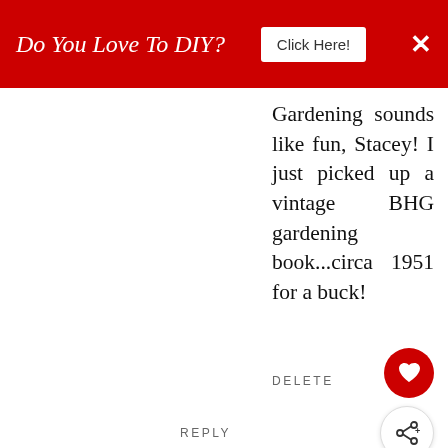[Figure (screenshot): Red banner ad with text 'Do You Love To DIY?' and a 'Click Here!' button and an X close button]
Gardening sounds like fun, Stacey! I just picked up a vintage BHG gardening book...circa 1951 for a buck!
DELETE
REPLY
[Figure (infographic): WHAT'S NEXT arrow label with Reading For Pleasure text and a circular thumbnail image]
Lynne
[Figure (screenshot): Advertisement: Give support to people recovering from crisis. Make a year-end donation.]
[Figure (logo): Books logo partially visible on the right]